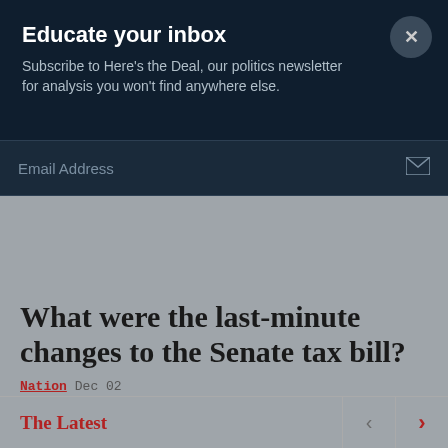Educate your inbox
Subscribe to Here's the Deal, our politics newsletter for analysis you won't find anywhere else.
Email Address
What were the last-minute changes to the Senate tax bill?
Nation  Dec 02
The Latest